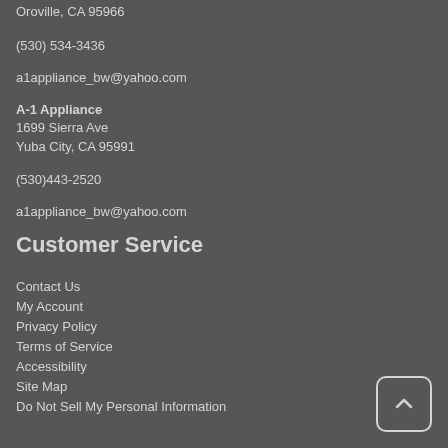Oroville, CA 95966
(530) 534-3436
a1appliance_bw@yahoo.com
A-1 Appliance
1699 Sierra Ave
Yuba City, CA 95991
(530)443-2520
a1appliance_bw@yahoo.com
Customer Service
Contact Us
My Account
Privacy Policy
Terms of Service
Accessibility
Site Map
Do Not Sell My Personal Information